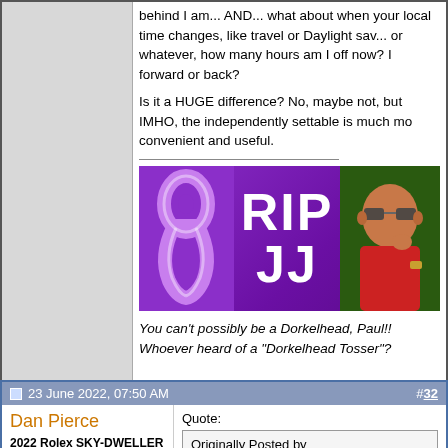behind I am... AND... what about when your local time changes, like travel or Daylight saving or whatever, how many hours am I off now? Forward or back?
Is it a HUGE difference? No, maybe not, but IMHO, the independently settable is much more convenient and useful.
[Figure (illustration): Purple RIP banner with awareness ribbon and photo of a man wearing sunglasses and red shirt]
You can't possibly be a Dorkelhead, Paul!! Whoever heard of a "Dorkelhead Tosser"?
offline
23 June 2022, 07:50 AM  #32
Dan Pierce
2022 Rolex SKY-DWELLER
Pledge Member
Quote:
Originally Posted by TheVTCGuy
The GMT-second time zone is an interesting topic.